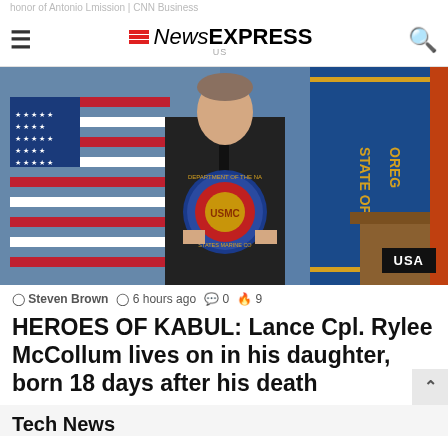honor of Antonio Lmission | CNN Business
≡ NewsEXPRESS US 🔍
[Figure (photo): Young person in dark shirt and tie holding a United States Marine Corps seal/emblem, standing in front of an American flag and a blue Oregon State flag, with a wooden podium visible on the right. A black badge reading 'USA' is overlaid in the bottom right corner.]
Steven Brown  6 hours ago  💬 0  🔥 9
HEROES OF KABUL: Lance Cpl. Rylee McCollum lives on in his daughter, born 18 days after his death
Tech News